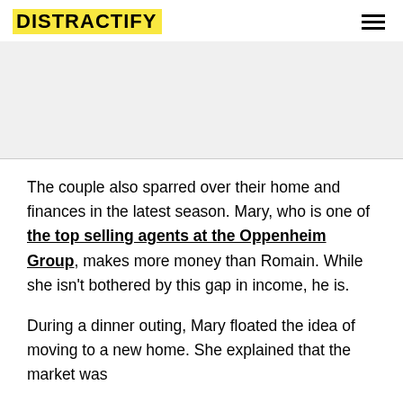DISTRACTIFY
The couple also sparred over their home and finances in the latest season. Mary, who is one of the top selling agents at the Oppenheim Group, makes more money than Romain. While she isn't bothered by this gap in income, he is.
During a dinner outing, Mary floated the idea of moving to a new home. She explained that the market was